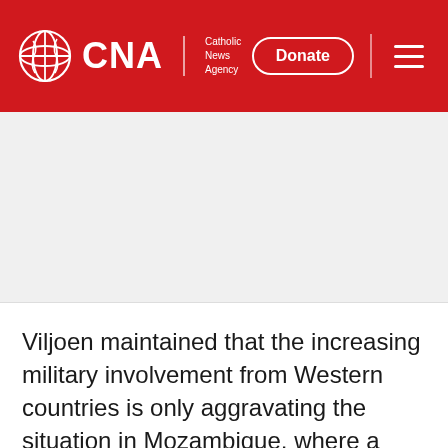CNA | Catholic News Agency
[Figure (other): Advertisement placeholder area with light gray background]
Viljoen maintained that the increasing military involvement from Western countries is only aggravating the situation in Mozambique, where a number of Western powers are pursuing their